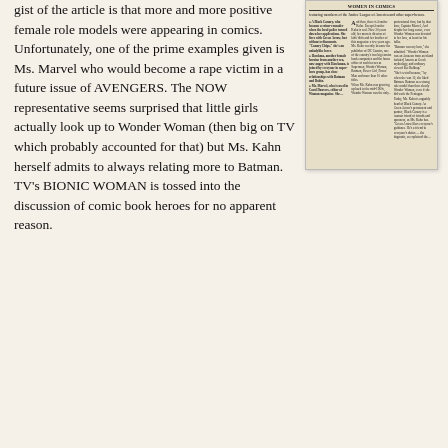gist of the article is that more and more positive female role models were appearing in comics. Unfortunately, one of the prime examples given is Ms. Marvel who would become a rape victim in a future issue of AVENGERS. The NOW representative seems surprised that little girls actually look up to Wonder Woman (then big on TV which probably accounted for that) but Ms. Kahn herself admits to always relating more to Batman. TV's BIONIC WOMAN is tossed into the discussion of comic book heroes for no apparent reason.
[Figure (photo): Scanned newspaper clipping showing a multi-column article about female role models in comics, featuring text in small print arranged in columns with a drop capital 'A'.]